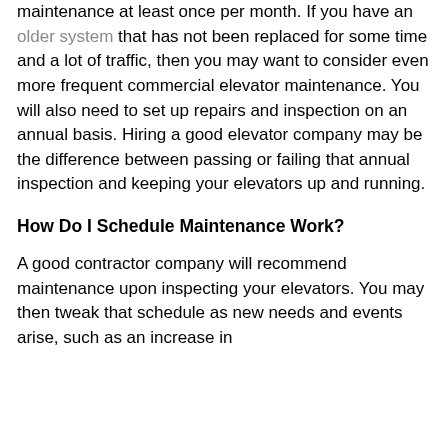maintenance at least once per month. If you have an older system that has not been replaced for some time and a lot of traffic, then you may want to consider even more frequent commercial elevator maintenance. You will also need to set up repairs and inspection on an annual basis. Hiring a good elevator company may be the difference between passing or failing that annual inspection and keeping your elevators up and running.
How Do I Schedule Maintenance Work?
A good contractor company will recommend maintenance upon inspecting your elevators. You may then tweak that schedule as new needs and events arise, such as an increase in